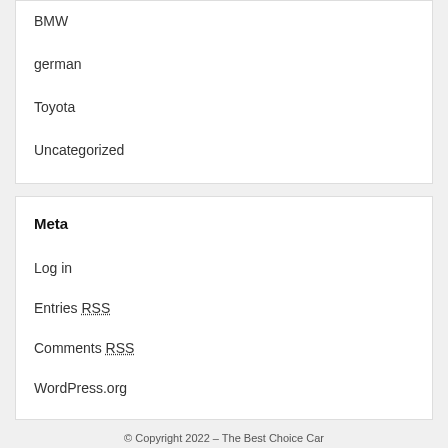BMW
german
Toyota
Uncategorized
Meta
Log in
Entries RSS
Comments RSS
WordPress.org
© Copyright 2022 – The Best Choice Car